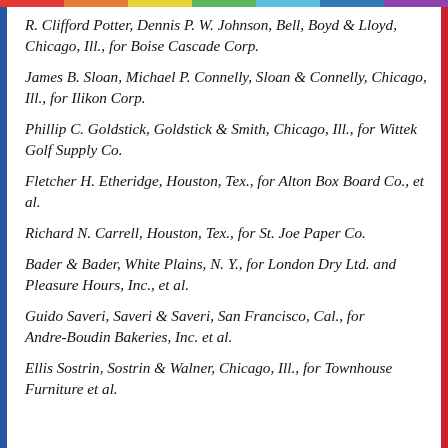R. Clifford Potter, Dennis P. W. Johnson, Bell, Boyd & Lloyd, Chicago, Ill., for Boise Cascade Corp.
James B. Sloan, Michael P. Connelly, Sloan & Connelly, Chicago, Ill., for Ilikon Corp.
Phillip C. Goldstick, Goldstick & Smith, Chicago, Ill., for Wittek Golf Supply Co.
Fletcher H. Etheridge, Houston, Tex., for Alton Box Board Co., et al.
Richard N. Carrell, Houston, Tex., for St. Joe Paper Co.
Bader & Bader, White Plains, N. Y., for London Dry Ltd. and Pleasure Hours, Inc., et al.
Guido Saveri, Saveri & Saveri, San Francisco, Cal., for Andre-Boudin Bakeries, Inc. et al.
Ellis Sostrin, Sostrin & Walner, Chicago, Ill., for Townhouse Furniture et al.